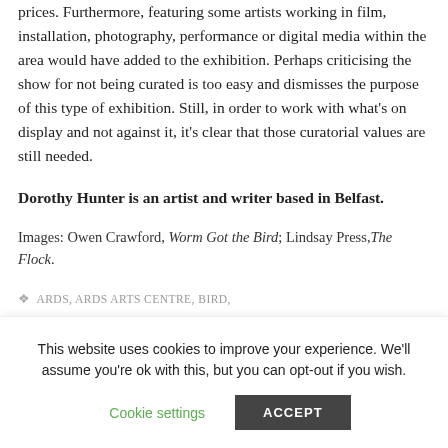prices. Furthermore, featuring some artists working in film, installation, photography, performance or digital media within the area would have added to the exhibition. Perhaps criticising the show for not being curated is too easy and dismisses the purpose of this type of exhibition. Still, in order to work with what's on display and not against it, it's clear that those curatorial values are still needed.
Dorothy Hunter is an artist and writer based in Belfast.
Images: Owen Crawford, Worm Got the Bird; Lindsay Press, The Flock.
ARDS, ARDS ARTS CENTRE, BIRD,
This website uses cookies to improve your experience. We'll assume you're ok with this, but you can opt-out if you wish.
Cookie settings
ACCEPT